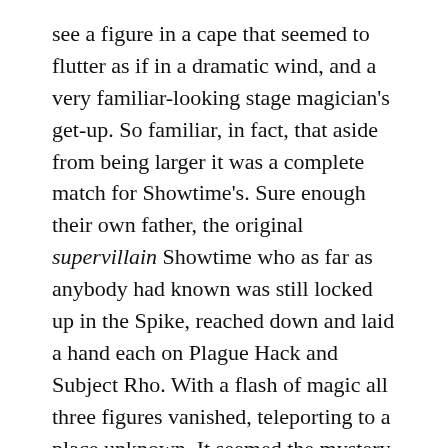see a figure in a cape that seemed to flutter as if in a dramatic wind, and a very familiar-looking stage magician's get-up. So familiar, in fact, that aside from being larger it was a complete match for Showtime's. Sure enough their own father, the original supervillain Showtime who as far as anybody had known was still locked up in the Spike, reached down and laid a hand each on Plague Hack and Subject Rho. With a flash of magic all three figures vanished, teleporting to a place unknown. It seemed the mystery of how Plague Hack had escaped the crashing HIBM helicopter had been solved, at the cost of the mad doctor escaping yet again.
The team was, frankly, in a state of shock. Showtime/Morgan vanished into the shadows of the facility seemingly stunned by their father's appearance, Spitfire was staggering after the adrenaline rush, and everyone else was on their back